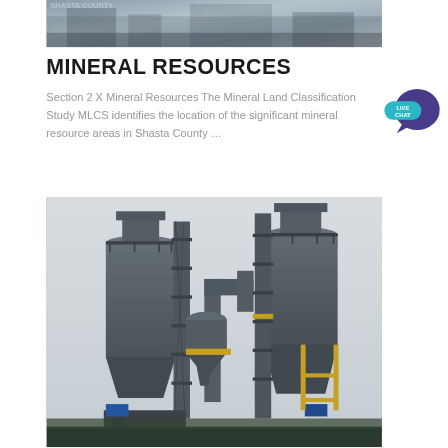[Figure (photo): Partial view of industrial or quarry equipment/facility at the top of the page]
MINERAL RESOURCES
Section 2 X Mineral Resources The Mineral Land Classification Study MLCS identifies the location of the significant mineral resource areas in Shasta County …
[Figure (photo): Industrial facility showing large gray silos, conveyor structures, and dust collector equipment at an aggregate or mining plant]